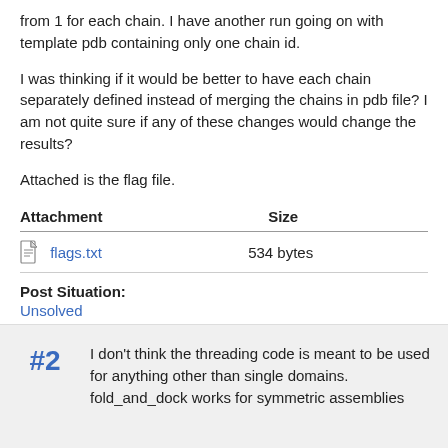from 1 for each chain. I have another run going on with template pdb containing only one chain id.
I was thinking if it would be better to have each chain separately defined instead of merging the chains in pdb file? I am not quite sure if any of these changes would change the results?
Attached is the flag file.
| Attachment | Size |
| --- | --- |
| flags.txt | 534 bytes |
Post Situation: Unsolved
eskici   Wed, 2012-08-29 08:09
Log in or register to post comments
#2  I don't think the threading code is meant to be used for anything other than single domains. fold_and_dock works for symmetric assemblies